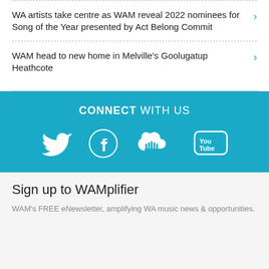WA artists take centre as WAM reveal 2022 nominees for Song of the Year presented by Act Belong Commit
WAM head to new home in Melville's Goolugatup Heathcote
CONNECT WITH US
[Figure (infographic): Social media icons: Twitter, Facebook, SoundCloud, YouTube on teal background]
Sign up to WAMplifier
WAM's FREE eNewsletter, amplifying WA music news & opportunities.